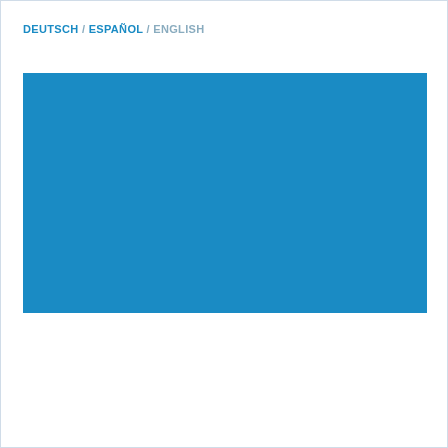DEUTSCH / ESPAÑOL / ENGLISH
[Figure (illustration): Solid blue rectangle filling the main content area of the page]